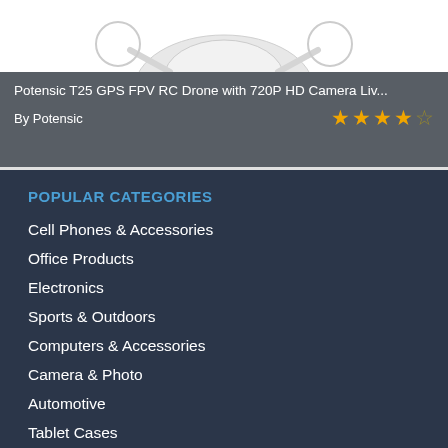[Figure (photo): Top portion of a drone product image on white background, partially cropped]
Potensic T25 GPS FPV RC Drone with 720P HD Camera Liv...
By Potensic  ★★★★☆
POPULAR CATEGORIES
Cell Phones & Accessories
Office Products
Electronics
Sports & Outdoors
Computers & Accessories
Camera & Photo
Automotive
Tablet Cases
Photographic Studio Photo Backgrounds